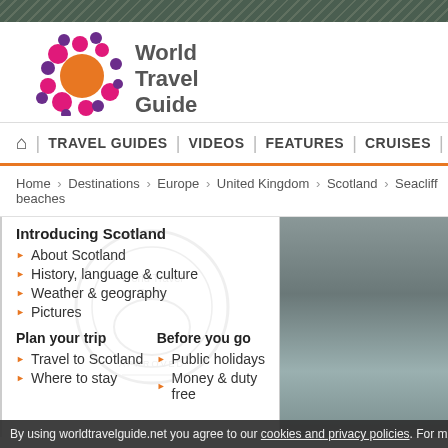[Figure (logo): World Travel Guide logo with colorful circles and text]
🏠  |  TRAVEL GUIDES  |  VIDEOS  |  FEATURES  |  CRUISES  |  FL…
Home › Destinations › Europe › United Kingdom › Scotland › Seacliff beaches
Introducing Scotland
About Scotland
History, language & culture
Weather & geography
Pictures
Plan your trip
Travel to Scotland
Where to stay
Before you go
Public holidays
Money & duty free
[Figure (photo): Grey/blue sky photograph on the right side]
By using worldtravelguide.net you agree to our cookies and privacy policies. For m…